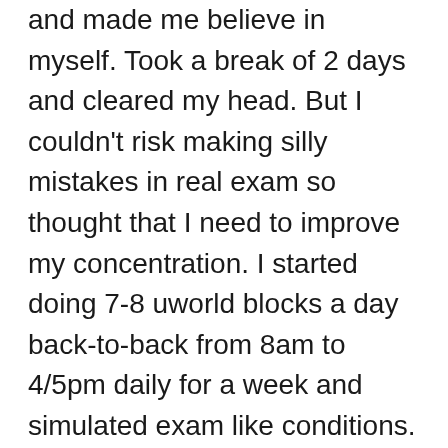and made me believe in myself. Took a break of 2 days and cleared my head. But I couldn't risk making silly mistakes in real exam so thought that I need to improve my concentration. I started doing 7-8 uworld blocks a day back-to-back from 8am to 4/5pm daily for a week and simulated exam like conditions. This time I wasn't using uworld for knowledge, but to improve my concentration skills. And this, really helped me in real exam to prevent mental fatigue in those last 2 blocks. After doing this for a week, I took NBME 19 and was satisfied to see my NBME score above 250 for the first time. Took UWSA2 and got 260. Booked the date and started my final First Aid revision of 10 days. A week before exam I took the